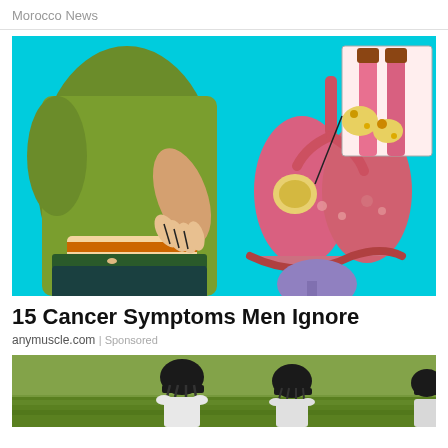Morocco News
[Figure (illustration): Medical illustration showing a person holding their side/stomach area on the left, and anatomical lungs with a tumor/growth highlighted on the right, with a zoomed inset showing the cancerous area in detail. Cyan/turquoise background.]
15 Cancer Symptoms Men Ignore
anymuscle.com | Sponsored
[Figure (photo): Two cricket players wearing helmets standing on a cricket field, viewed from behind/side. Green grass background.]